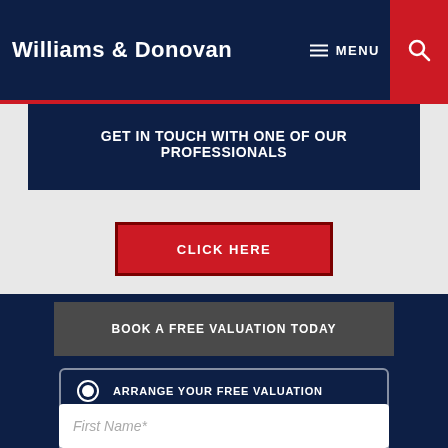Williams & Donovan
MENU
GET IN TOUCH WITH ONE OF OUR PROFESSIONALS
CLICK HERE
BOOK A FREE VALUATION TODAY
ARRANGE YOUR FREE VALUATION
REGISTER FOR UPDATES
First Name*